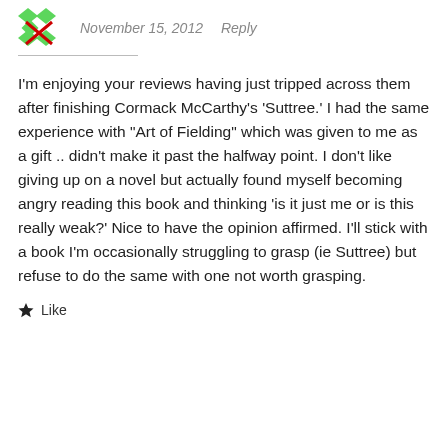November 15, 2012   Reply
I'm enjoying your reviews having just tripped across them after finishing Cormack McCarthy's 'Suttree.' I had the same experience with “Art of Fielding” which was given to me as a gift .. didn’t make it past the halfway point. I don’t like giving up on a novel but actually found myself becoming angry reading this book and thinking ‘is it just me or is this really weak?’ Nice to have the opinion affirmed. I’ll stick with a book I’m occasionally struggling to grasp (ie Suttree) but refuse to do the same with one not worth grasping.
Like